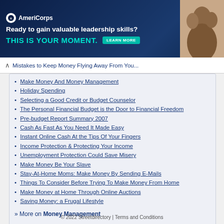[Figure (other): AmeriCorps advertisement banner: 'Ready to gain valuable leadership skills? THIS IS YOUR MOMENT. LEARN MORE' with photo of people]
Mistakes to Keep Money Flying Away From You...
Make Money And Money Management
Holiday Spending
Selecting a Good Credit or Budget Counselor
The Personal Financial Budget is the Door to Financial Freedom
Pre-budget Report Summary 2007
Cash As Fast As You Need It Made Easy
Instant Online Cash At the Tips Of Your Fingers
Income Protection & Protecting Your Income
Unemployment Protection Could Save Misery
Make Money Be Your Slave
Stay-At-Home Moms: Make Money By Sending E-Mails
Things To Consider Before Trying To Make Money From Home
Make Money at Home Through Online Auctions
Saving Money: a Frugal Lifestyle
» More on Money Management
© 2022 Streetdirectory | Terms and Conditions